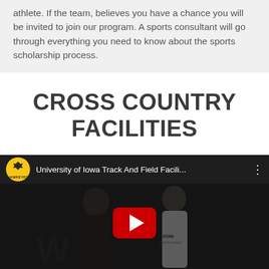athlete. If the team, believes you have a chance you will be invited to join our program. A sports consultant will go through everything you need to know about the sports scholarship process.
CROSS COUNTRY FACILITIES
[Figure (screenshot): YouTube video thumbnail showing University of Iowa Track And Field Facilities video with two athletes visible, a YouTube play button overlay, and the Hawkeye channel logo.]